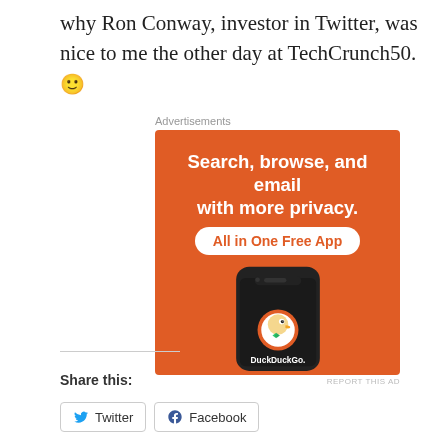why Ron Conway, investor in Twitter, was nice to me the other day at TechCrunch50. 🙂
[Figure (illustration): DuckDuckGo advertisement: orange background with white bold text 'Search, browse, and email with more privacy.' and a white pill button 'All in One Free App', showing a smartphone with DuckDuckGo logo and text 'DuckDuckGo.' underneath]
Share this:
Twitter  Facebook